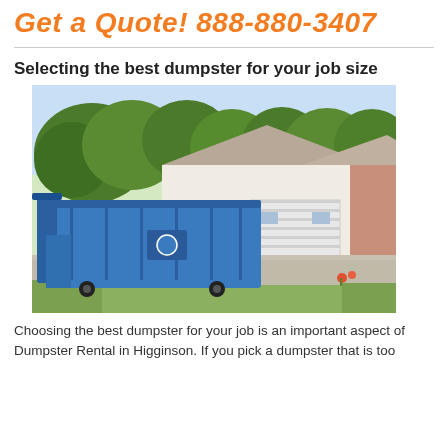Get a Quote! 888-880-3407
Selecting the best dumpster for your job size
[Figure (photo): A large blue roll-off dumpster parked in a residential driveway in front of a house with trees in the background.]
Choosing the best dumpster for your job is an important aspect of Dumpster Rental in Higginson. If you pick a dumpster that is too